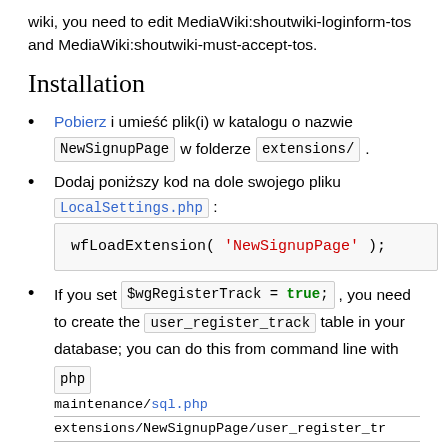wiki, you need to edit MediaWiki:shoutwiki-loginform-tos and MediaWiki:shoutwiki-must-accept-tos.
Installation
Pobierz i umieść plik(i) w katalogu o nazwie NewSignupPage w folderze extensions/ .
Dodaj poniższy kod na dole swojego pliku LocalSettings.php : wfLoadExtension( 'NewSignupPage' );
If you set $wgRegisterTrack = true; , you need to create the user_register_track table in your database; you can do this from command line with php maintenance/sql.php extensions/NewSignupPage/user_register_tr